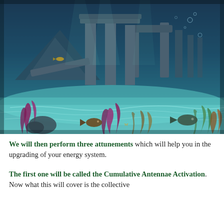[Figure (illustration): A digital illustration of an ancient underwater ruins scene (Atlantis-like) with stone columns and arches submerged under turquoise water, with colorful sea plants, fish, and light rays filtering through the water.]
We will then perform three attunements which will help you in the upgrading of your energy system.
The first one will be called the Cumulative Antennae Activation. Now what this will cover is the collective